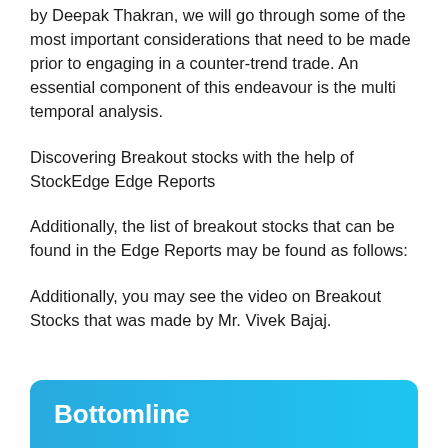by Deepak Thakran, we will go through some of the most important considerations that need to be made prior to engaging in a counter-trend trade. An essential component of this endeavour is the multi temporal analysis.
Discovering Breakout stocks with the help of StockEdge Edge Reports
Additionally, the list of breakout stocks that can be found in the Edge Reports may be found as follows:
Additionally, you may see the video on Breakout Stocks that was made by Mr. Vivek Bajaj.
Bottomline